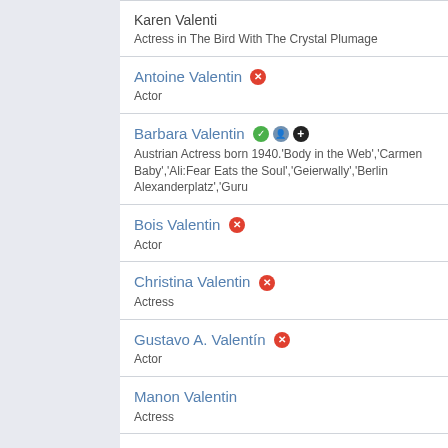Karen Valenti
Actress in The Bird With The Crystal Plumage
Antoine Valentin [icon-red]
Actor
Barbara Valentin [icon-green][icon-person][icon-plus]
Austrian Actress born 1940.'Body in the Web','Carmen Baby','Ali:Fear Eats the Soul','Geierwally','Berlin Alexanderplatz','Guru
Bois Valentin [icon-red]
Actor
Christina Valentin [icon-red]
Actress
Gustavo A. Valentín [icon-red]
Actor
Manon Valentin
Actress
Marie Valentin
Actress